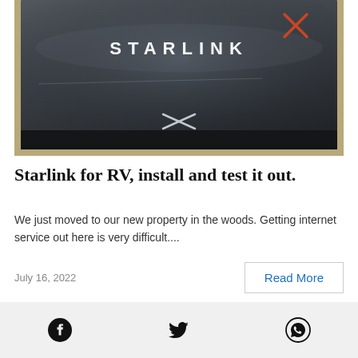[Figure (photo): Photo of a Starlink satellite dish box, dark grey with STARLINK text in white letters on the top surface and an X logo mark.]
Starlink for RV, install and test it out.
We just moved to our new property in the woods. Getting internet service out here is very difficult....
July 16, 2022
Read More
[Figure (other): Social media icons: Facebook, Twitter, WhatsApp in a footer bar]